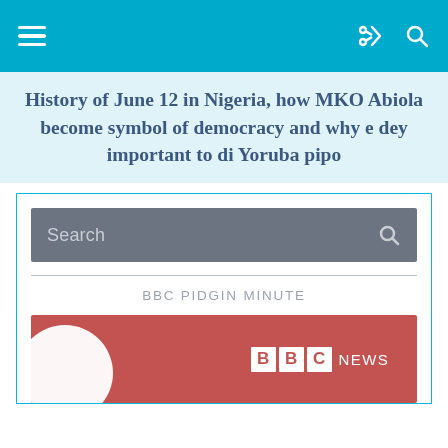History of June 12 in Nigeria, how MKO Abiola become symbol of democracy and why e dey important to di Yoruba pipo
[Figure (screenshot): Search bar with grey background and search icon]
BBC PIDGIN MINUTE
[Figure (logo): BBC News logo on red/rose background with white circle element]